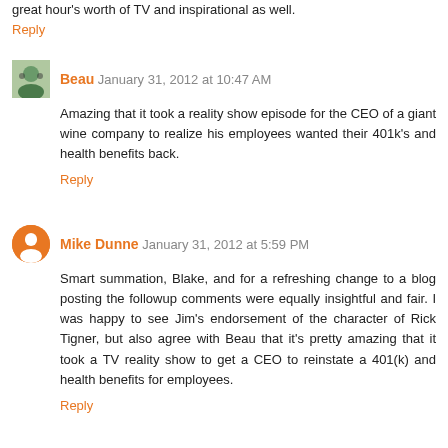great hour's worth of TV and inspirational as well.
Reply
Beau   January 31, 2012 at 10:47 AM
Amazing that it took a reality show episode for the CEO of a giant wine company to realize his employees wanted their 401k's and health benefits back.
Reply
Mike Dunne   January 31, 2012 at 5:59 PM
Smart summation, Blake, and for a refreshing change to a blog posting the followup comments were equally insightful and fair. I was happy to see Jim's endorsement of the character of Rick Tigner, but also agree with Beau that it's pretty amazing that it took a TV reality show to get a CEO to reinstate a 401(k) and health benefits for employees.
Reply